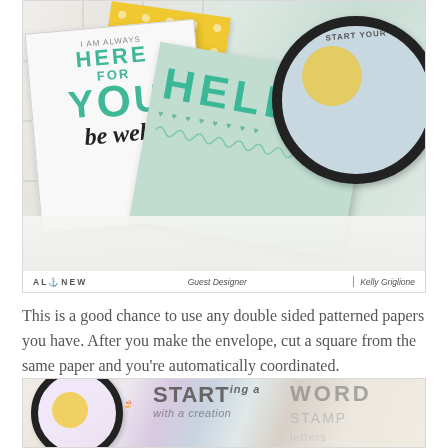[Figure (photo): Photo of handmade greeting cards arranged on a white surface. Cards include a white card with 'HERE FOR YOU be well' text in teal/black, a yellow polka dot card, a mint green card with 'HELLO' in teal, and a round blue card with dark border. White tissue paper visible at bottom. Photo has Altenew branding bar at bottom with 'Guest Designer | Kelly Griglione'.]
This is a good chance to use any double sided patterned papers you have. After you make the envelope, cut a square from the same paper and you're automatically coordinated.
[Figure (photo): Partial photo visible at bottom of page showing crafting supplies including a round container with dark border, yellow crescent shape, small illustrated figure, and text reading 'START' with additional text below, and letter/word stamps in background.]